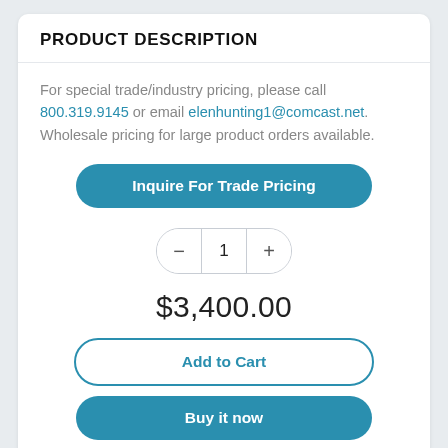PRODUCT DESCRIPTION
For special trade/industry pricing, please call 800.319.9145 or email elenhunting1@comcast.net. Wholesale pricing for large product orders available.
Inquire For Trade Pricing
1
$3,400.00
Add to Cart
Buy it now